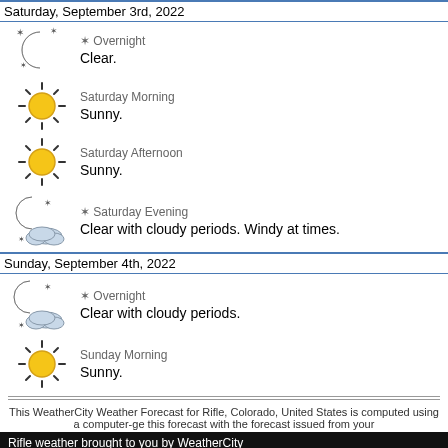Saturday, September 3rd, 2022
Overnight
Clear.
Saturday Morning
Sunny.
Saturday Afternoon
Sunny.
Saturday Evening
Clear with cloudy periods. Windy at times.
Sunday, September 4th, 2022
Overnight
Clear with cloudy periods.
Sunday Morning
Sunny.
This WeatherCity Weather Forecast for Rifle, Colorado, United States is computed using a computer-ge this forecast with the forecast issued from your
Rifle weather brought to you by WeatherCity
Home | About WeatherCity | Advertising | Copyright | Discl